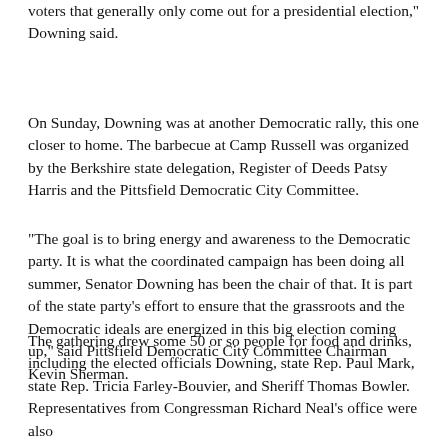voters that generally only come out for a presidential election," Downing said.
On Sunday, Downing was at another Democratic rally, this one closer to home. The barbecue at Camp Russell was organized by the Berkshire state delegation, Register of Deeds Patsy Harris and the Pittsfield Democratic City Committee.
"The goal is to bring energy and awareness to the Democratic party. It is what the coordinated campaign has been doing all summer, Senator Downing has been the chair of that. It is part of the state party's effort to ensure that the grassroots and the Democratic ideals are energized in this big election coming up," said Pittsfield Democratic City Committee Chairman Kevin Sherman.
The gathering drew some 50 or so people for food and drinks, including the elected officials Downing, state Rep. Paul Mark, state Rep. Tricia Farley-Bouvier, and Sheriff Thomas Bowler. Representatives from Congressman Richard Neal's office were also